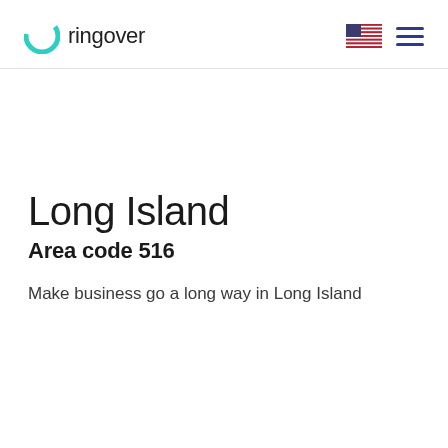ringover
Long Island
Area code 516
Make business go a long way in Long Island